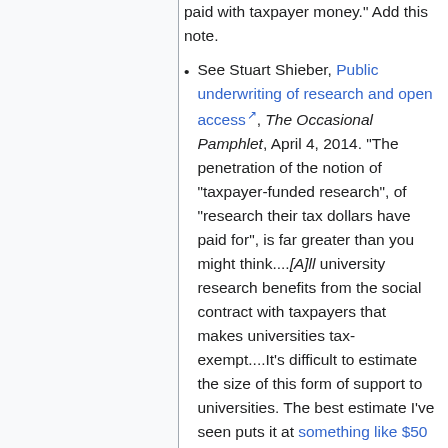paid with taxpayer money." Add this note.
See Stuart Shieber, Public underwriting of research and open access, The Occasional Pamphlet, April 4, 2014. "The penetration of the notion of “taxpayer-funded research”, of “research their tax dollars have paid for”, is far greater than you might think....[A]ll university research benefits from the social contract with taxpayers that makes universities tax-exempt....It’s difficult to estimate the size of this form of support to universities. The best estimate I’ve seen puts it at something like $50 billion per year for the income tax exemption. That’s